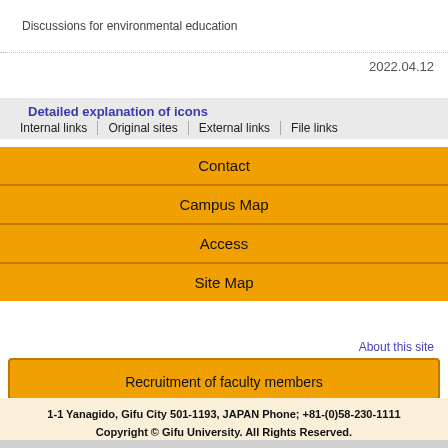Discussions for environmental education
2022.04.12
Detailed explanation of icons
| Internal links | Original sites | External links | File links |
| --- | --- | --- | --- |
Contact
Campus Map
Access
Site Map
About this site
Recruitment of faculty members
1-1 Yanagido, Gifu City 501-1193, JAPAN Phone; +81-(0)58-230-1111
Copyright © Gifu University. All Rights Reserved.